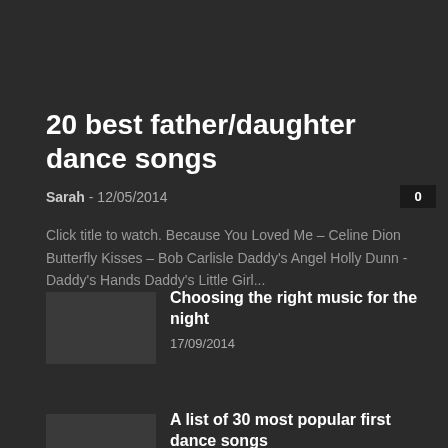20 best father/daughter dance songs
Sarah  -  12/05/2014
Click title to watch. Because You Loved Me – Celine Dion Butterfly Kisses – Bob Carlisle Daddy's Angel Holly Dunn - Daddy's Hands Daddy's Little Girl...
Choosing the right music for the night
17/09/2014
A list of 30 most popular first dance songs
11/05/2014
MELOS – Church Wedding Singers Dublin /